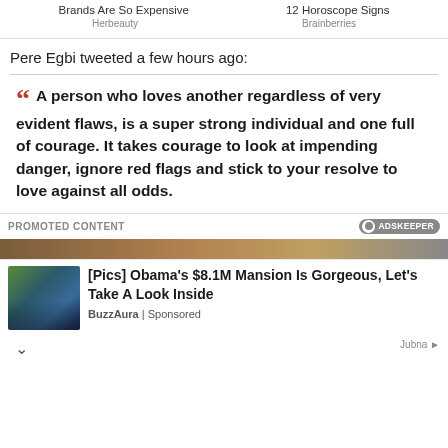Brands Are So Expensive   12 Horoscope Signs
Herbeauty   Brainberries
Pere Egbi tweeted a few hours ago:
A person who loves another regardless of very evident flaws, is a super strong individual and one full of courage. It takes courage to look at impending danger, ignore red flags and stick to your resolve to love against all odds.
PROMOTED CONTENT
[Pics] Obama's $8.1M Mansion Is Gorgeous, Let's Take A Look Inside
BuzzAura | Sponsored
Jubna